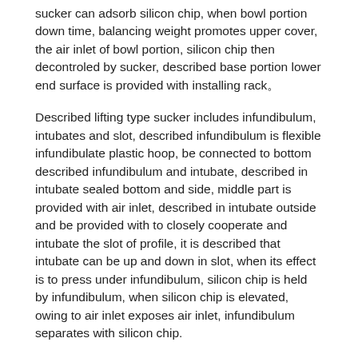sucker can adsorb silicon chip, when bowl portion down time, balancing weight promotes upper cover, the air inlet of bowl portion, silicon chip then decontroled by sucker, described base portion lower end surface is provided with installing rack。
Described lifting type sucker includes infundibulum, intubates and slot, described infundibulum is flexible infundibulate plastic hoop, be connected to bottom described infundibulum and intubate, described in intubate sealed bottom and side, middle part is provided with air inlet, described in intubate outside and be provided with to closely cooperate and intubate the slot of profile, it is described that intubate can be up and down in slot, when its effect is to press under infundibulum, silicon chip is held by infundibulum, when silicon chip is elevated, owing to air inlet exposes air inlet, infundibulum separates with silicon chip.
Further, described upset motor adopts servomotor.
Further, intubate described in and be selflubricatingpiston with slot material.